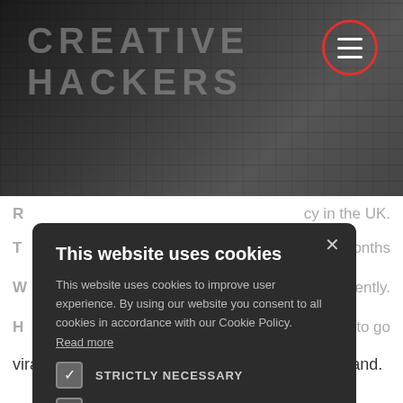[Figure (screenshot): Creative Hackers website hero banner with dark keyboard background image, site logo text 'CREATIVE HACKERS' in gray, and a hamburger menu icon inside a red circle in the top right]
This website uses cookies
This website uses cookies to improve user experience. By using our website you consent to all cookies in accordance with our Cookie Policy.
Read more
STRICTLY NECESSARY
PERFORMANCE
ACCEPT ALL
DECLINE ALL
SHOW DETAILS
R…cy in the UK. T…18 months
W…e it differently.
H…r tactics to go viral on social media and build your personal brand.